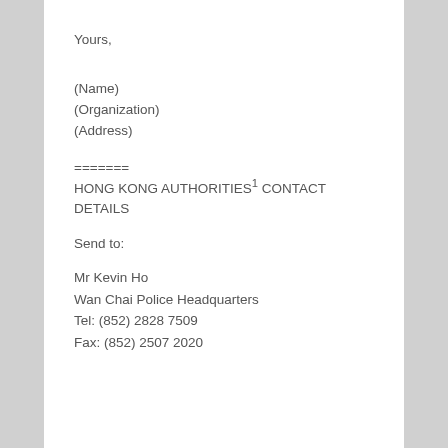Yours,
(Name)
(Organization)
(Address)
=======
HONG KONG AUTHORITIES¹ CONTACT DETAILS
Send to:
Mr Kevin Ho
Wan Chai Police Headquarters
Tel: (852) 2828 7509
Fax: (852) 2507 2020